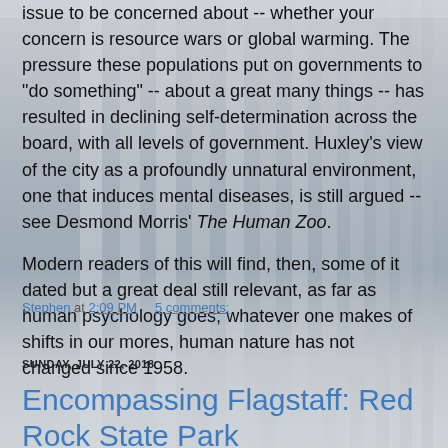issue to be concerned about -- whether your concern is resource wars or global warming. The pressure these populations put on governments to "do something" -- about a great many things -- has resulted in declining self-determination across the board, with all levels of government.  Huxley's view of the city as a profoundly unnatural environment, one that induces mental diseases, is still argued -- see Desmond Morris' The Human Zoo.
Modern readers of this will find, then, some of it dated but a great deal still relevant, as far as human psychology goes;  whatever one makes of shifts in our mores, human nature has not changed since 1958.
Stephen at 2:09 PM    5 comments:
SUNDAY, JULY 22, 2018
Encompassing Flagstaff: Red Rock State Park